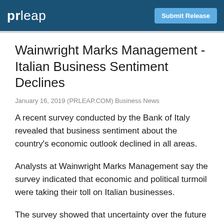prleap | Submit Release
Wainwright Marks Management - Italian Business Sentiment Declines
January 16, 2019 (PRLEAP.COM) Business News
A recent survey conducted by the Bank of Italy revealed that business sentiment about the country's economic outlook declined in all areas.
Analysts at Wainwright Marks Management say the survey indicated that economic and political turmoil were taking their toll on Italian businesses.
The survey showed that uncertainty over the future of Italy's economy increased due to economic and political problems. Causes of current demand in Italy's